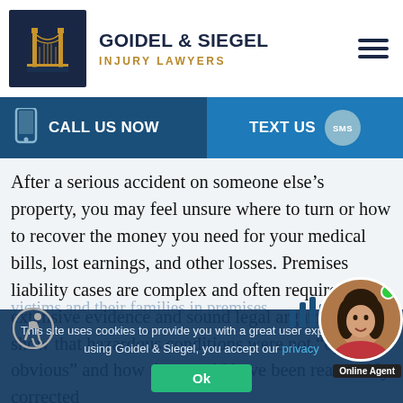[Figure (logo): Goidel & Siegel Injury Lawyers logo with Brooklyn Bridge illustration on dark navy background]
GOIDEL & SIEGEL
INJURY LAWYERS
[Figure (infographic): Navigation bar with CALL US NOW and TEXT US buttons with phone icon and SMS bubble]
After a serious accident on someone else's property, you may feel unsure where to turn or how to recover the money you need for your medical bills, lost earnings, and other losses. Premises liability cases are complex and often require extensive evidence and sound legal arguments to show that hazardous conditions were not “open and obvious” and how they could have been reasonably corrected
This site uses cookies to provide you with a great user experience. By using Goidel & Siegel, you accept our privacy
victims and their families in premises
[Figure (photo): Online agent chat widget with female agent avatar photo, green online dot, and Online Agent label]
[Figure (infographic): Accessibility icon (wheelchair user)]